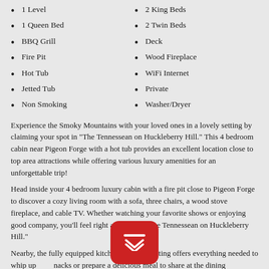1 Level
2 King Beds
1 Queen Bed
2 Twin Beds
BBQ Grill
Deck
Fire Pit
Wood Fireplace
Hot Tub
WiFi Internet
Jetted Tub
Private
Non Smoking
Washer/Dryer
Experience the Smoky Mountains with your loved ones in a lovely setting by claiming your spot in "The Tennessean on Huckleberry Hill." This 4 bedroom cabin near Pigeon Forge with a hot tub provides an excellent location close to top area attractions while offering various luxury amenities for an unforgettable trip!
Head inside your 4 bedroom luxury cabin with a fire pit close to Pigeon Forge to discover a cozy living room with a sofa, three chairs, a wood stove fireplace, and cable TV. Whether watching your favorite shows or enjoying good company, you'll feel right at home in "The Tennessean on Huckleberry Hill."
Nearby, the fully equipped kitchen with bar seating offers everything needed to whip up snacks or prepare a delicious meal to share at the dining table that seats four. Alternatively, the grill outside provides the perfect opportunity to indulge in a fun...